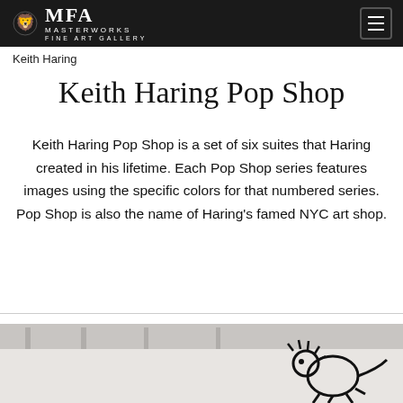MFA MASTERWORKS FINE ART GALLERY
Keith Haring
Keith Haring Pop Shop
Keith Haring Pop Shop is a set of six suites that Haring created in his lifetime. Each Pop Shop series features images using the specific colors for that numbered series. Pop Shop is also the name of Haring's famed NYC art shop.
[Figure (photo): Black and white photograph of an art gallery interior showing Keith Haring artwork on the wall — a large bold line drawing of a stylized animal/figure with radiating lines around its head.]